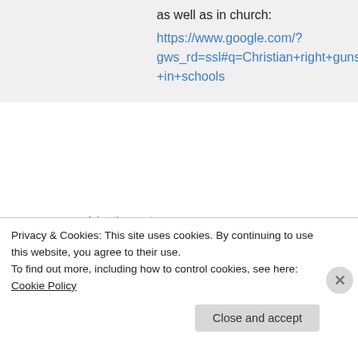as well as in church:
https://www.google.com/?gws_rd=ssl#q=Christian+right+guns+in+schools
Advertisements
[Figure (illustration): WooCommerce advertisement banner: purple background with WooCommerce logo and arrow, text 'How to start selling subscriptions online']
Neür☆N☮☂eš on June 10, 2013 at 3:31 pm
Privacy & Cookies: This site uses cookies. By continuing to use this website, you agree to their use. To find out more, including how to control cookies, see here: Cookie Policy
Close and accept